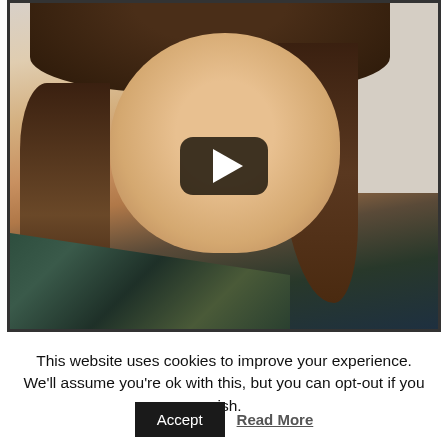[Figure (screenshot): A video thumbnail showing a young woman with long brown hair wearing a plaid flannel shirt, looking at the camera. A YouTube-style play button overlay (dark rounded rectangle with white triangle) is centered on the image.]
This website uses cookies to improve your experience. We'll assume you're ok with this, but you can opt-out if you wish.
Accept    Read More